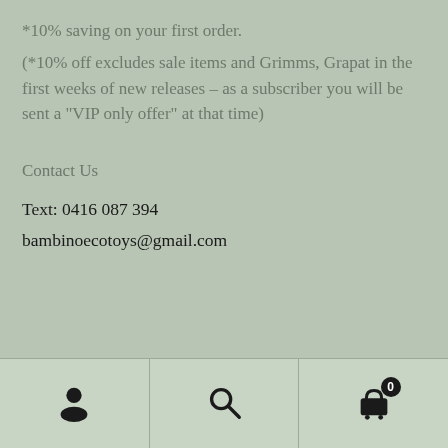*10% saving on your first order. (*10% off excludes sale items and Grimms, Grapat in the first weeks of new releases – as a subscriber you will be sent a “VIP only offer” at that time)
Contact Us
Text:  0416 087 394
bambinoecotoys@gmail.com
Shipping FREE over $200 (Shipping is halved for carts over $100!)
Dismiss
User | Search | Cart (0)